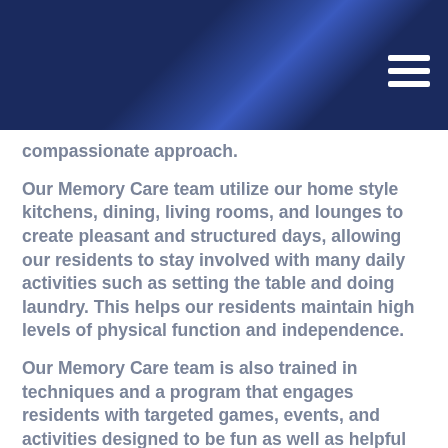[Figure (other): Dark navy blue header banner with a glossy metallic blue highlight in the center, and a white hamburger menu icon in the top right corner]
compassionate approach.
Our Memory Care team utilize our home style kitchens, dining, living rooms, and lounges to create pleasant and structured days, allowing our residents to stay involved with many daily activities such as setting the table and doing laundry. This helps our residents maintain high levels of physical function and independence.
Our Memory Care team is also trained in techniques and a program that engages residents with targeted games, events, and activities designed to be fun as well as helpful in